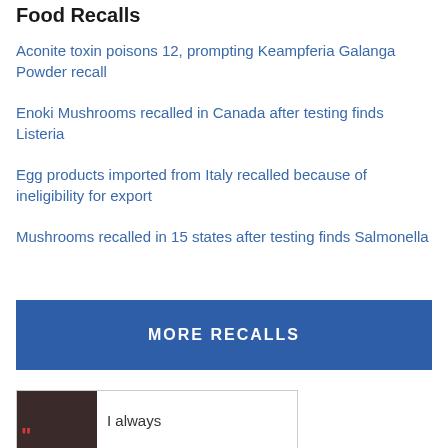Food Recalls
Aconite toxin poisons 12, prompting Keampferia Galanga Powder recall
Enoki Mushrooms recalled in Canada after testing finds Listeria
Egg products imported from Italy recalled because of ineligibility for export
Mushrooms recalled in 15 states after testing finds Salmonella
MORE RECALLS
[Figure (photo): Small photo of a person with a large red quotation mark overlay, with text 'I always' visible next to it]